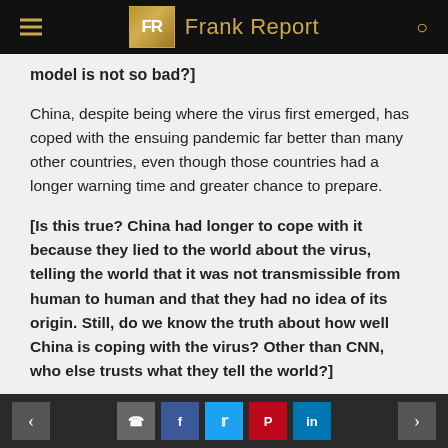FR Frank Report
model is not so bad?]
China, despite being where the virus first emerged, has coped with the ensuing pandemic far better than many other countries, even though those countries had a longer warning time and greater chance to prepare.
[Is this true? China had longer to cope with it because they lied to the world about the virus, telling the world that it was not transmissible from human to human and that they had no idea of its origin. Still, do we know the truth about how well China is coping with the virus? Other than CNN, who else trusts what they tell the world?]
Navigation and social sharing buttons